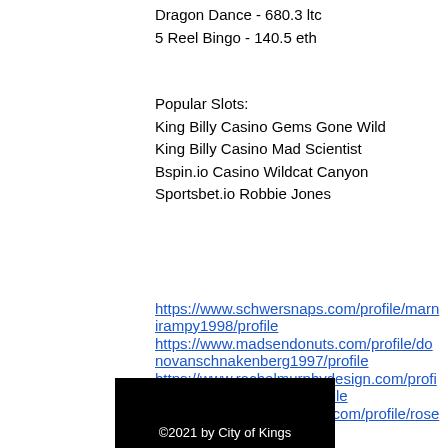Dragon Dance - 680.3 ltc
5 Reel Bingo - 140.5 eth
Popular Slots:
King Billy Casino Gems Gone Wild
King Billy Casino Mad Scientist
Bspin.io Casino Wildcat Canyon
Sportsbet.io Robbie Jones
https://www.schwersnaps.com/profile/marnirampy1998/profile https://www.madsendonuts.com/profile/donovanschnakenberg1997/profile https://www.rachelmurphydesign.com/profile/beehazlegrove1979/profile https://www.sagestreetmill.com/profile/rosettalinks1981/profile
©2021 by City of Kings